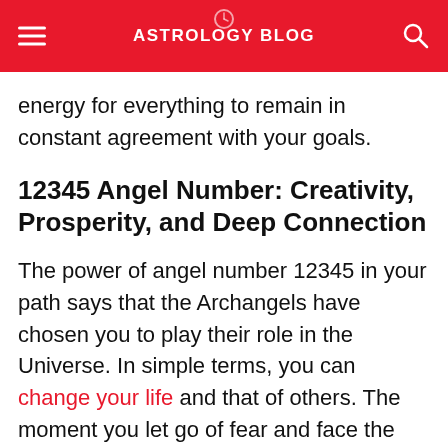ASTROLOGY BLOG
energy for everything to remain in constant agreement with your goals.
12345 Angel Number: Creativity, Prosperity, and Deep Connection
The power of angel number 12345 in your path says that the Archangels have chosen you to play their role in the Universe. In simple terms, you can change your life and that of others. The moment you let go of fear and face the unknown, that's when you will realize what you are capable of. This is the ideal time to pray